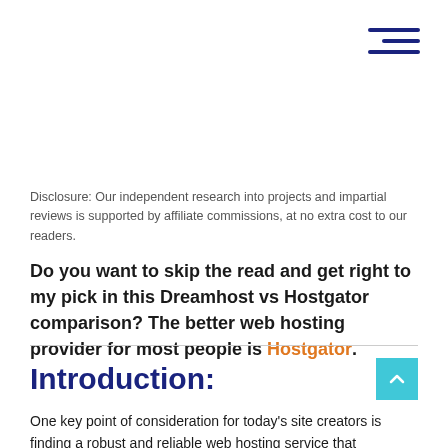[Figure (other): Hamburger menu icon with three dark blue horizontal lines in top-right corner]
Disclosure: Our independent research into projects and impartial reviews is supported by affiliate commissions, at no extra cost to our readers.
Do you want to skip the read and get right to my pick in this Dreamhost vs Hostgator comparison? The better web hosting provider for most people is Hostgator.
Introduction:
One key point of consideration for today's site creators is finding a robust and reliable web hosting service that